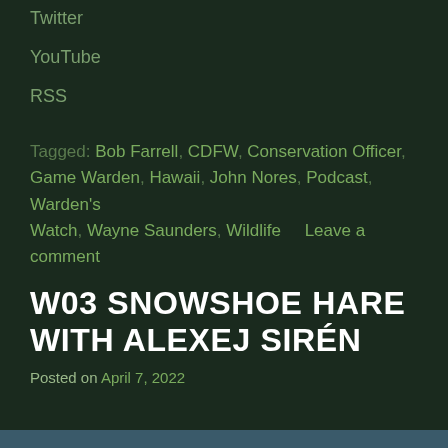Twitter
YouTube
RSS
Tagged: Bob Farrell, CDFW, Conservation Officer, Game Warden, Hawaii, John Nores, Podcast, Warden's Watch, Wayne Saunders, Wildlife    Leave a comment
W03 SNOWSHOE HARE WITH ALEXEJ SIRÉN
Posted on April 7, 2022